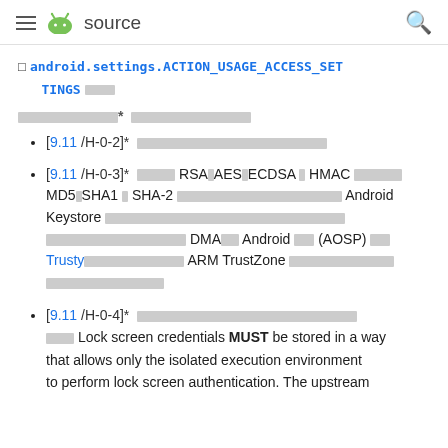≡  source  🔍
□ android.settings.ACTION_USAGE_ACCESS_SETTINGS □□□
□□□□□□□□* □□□□□□□□□□□
[9.11 /H-0-2]* □□□□□□□□□□□□□□□□□
[9.11 /H-0-3]* □□□□ RSA□AES□ECDSA □ HMAC □□□□□□ MD5□SHA1 □ SHA-2 □□□□□□□□□□□□□□□□□ Android Keystore □□□□□□□□□□□□□□□□□□□□□□□□□□□□□□ □□□□□□□□□□□□□□□□□□ DMA□□□ Android □□□□ (AOSP) □□□□ Trusty□□□□□□□□□□□□□□□□ ARM TrustZone □□□□□□□□□□□□□□ □□□□□□□□□□□□□□
[9.11 /H-0-4]* □□□□□□□□□□□□□□□□□□□□□□□□□□□□□□□□□□□□□□□□□□□□□ □□□ Lock screen credentials MUST be stored in a way that allows only the isolated execution environment to perform lock screen authentication. The upstream